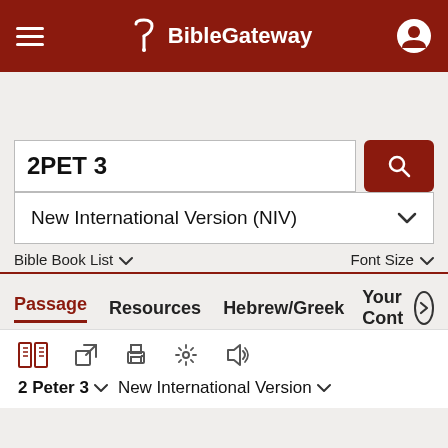BibleGateway
2PET 3
New International Version (NIV)
Bible Book List   Font Size
Passage   Resources   Hebrew/Greek   Your Cont
2 Peter 3   New International Version